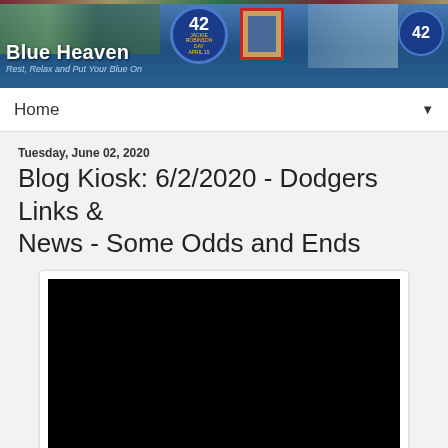Blue Heaven | Rest, Relax and Put Your Blue On
Home
Tuesday, June 02, 2020
Blog Kiosk: 6/2/2020 - Dodgers Links & News - Some Odds and Ends
[Figure (screenshot): Embedded video player with black screen]
Below are Some links to check out:
This Day in Dodgers History: In 1994 Brooklyn...